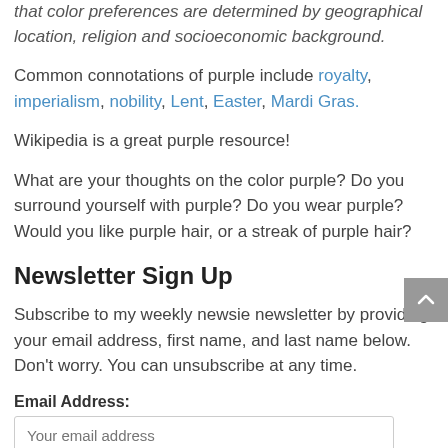that color preferences are determined by geographical location, religion and socioeconomic background.
Common connotations of purple include royalty, imperialism, nobility, Lent, Easter, Mardi Gras.
Wikipedia is a great purple resource!
What are your thoughts on the color purple? Do you surround yourself with purple? Do you wear purple? Would you like purple hair, or a streak of purple hair?
Newsletter Sign Up
Subscribe to my weekly newsie newsletter by providing your email address, first name, and last name below. Don't worry. You can unsubscribe at any time.
Email Address:
Your email address